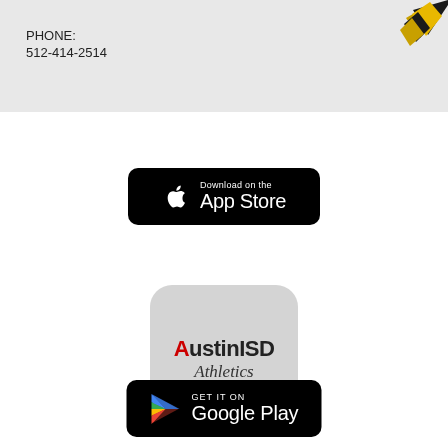[Figure (illustration): School mascot illustration (bird/hawk) in gold and black, positioned in top-right corner of the gray header band]
PHONE:
512-414-2514
[Figure (logo): Download on the App Store button — black rounded rectangle with Apple logo and text 'Download on the App Store']
[Figure (logo): Austin ISD Athletics app icon — light gray rounded square with 'AustinISD Athletics' text, Austin in black/red bold, ISD in bold black, Athletics in italic script]
[Figure (logo): GET IT ON Google Play button — black rounded rectangle with Google Play triangle logo and text 'GET IT ON Google Play']